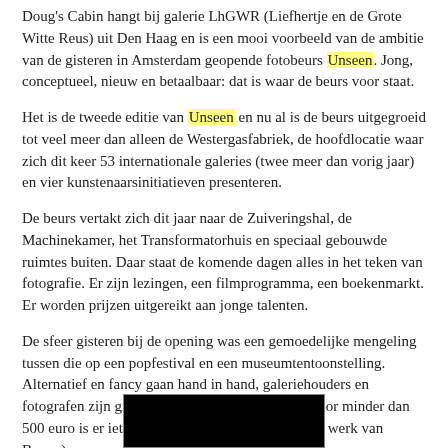Doug's Cabin hangt bij galerie LhGWR (Liefhertje en de Grote Witte Reus) uit Den Haag en is een mooi voorbeeld van de ambitie van de gisteren in Amsterdam geopende fotobeurs Unseen. Jong, conceptueel, nieuw en betaalbaar: dat is waar de beurs voor staat.
Het is de tweede editie van Unseen en nu al is de beurs uitgegroeid tot veel meer dan alleen de Westergasfabriek, de hoofdlocatie waar zich dit keer 53 internationale galeries (twee meer dan vorig jaar) en vier kunstenaarsinitiatieven presenteren.
De beurs vertakt zich dit jaar naar de Zuiveringshal, de Machinekamer, het Transformatorhuis en speciaal gebouwde ruimtes buiten. Daar staat de komende dagen alles in het teken van fotografie. Er zijn lezingen, een filmprogramma, een boekenmarkt. Er worden prijzen uitgereikt aan jonge talenten.
De sfeer gisteren bij de opening was een gemoedelijke mengeling tussen die op een popfestival en een museumtentoonstelling. Alternatief en fancy gaan hand in hand, galeriehouders en fotografen zijn graag tot praatjes bereid, en ook voor minder dan 500 euro is er iets moois te koop (bijvoorbeeld het werk van Bueno).
[Figure (photo): Partially visible photograph at the bottom of the page, showing a dark image, likely a face or figure.]